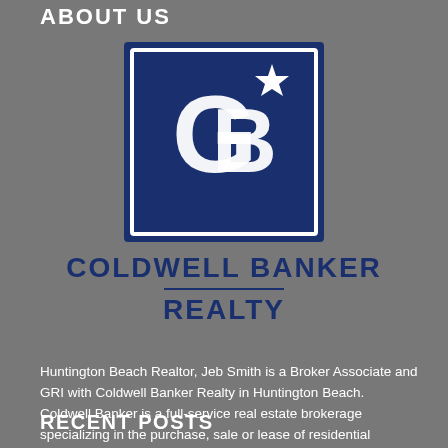ABOUT US
[Figure (logo): Coldwell Banker Realty logo — dark navy blue square with white outlined border, large white stylized 'CB' letters with a star above, navy background]
COLDWELL BANKER REALTY
Huntington Beach Realtor, Jeb Smith is a Broker Associate and GRI with Coldwell Banker Realty in Huntington Beach. Coldwell Banker is a full-service real estate brokerage specializing in the purchase, sale or lease of residential property throughout … Read More...
RECENT POSTS